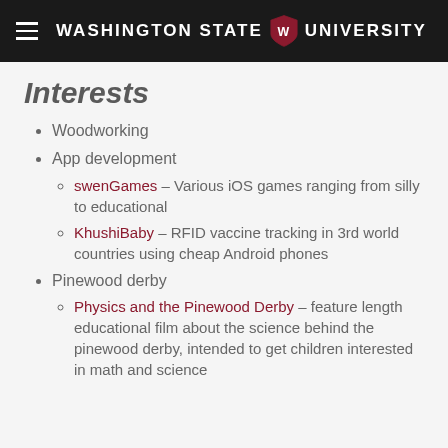Washington State University
Interests
Woodworking
App development
swenGames – Various iOS games ranging from silly to educational
KhushiBaby – RFID vaccine tracking in 3rd world countries using cheap Android phones
Pinewood derby
Physics and the Pinewood Derby – feature length educational film about the science behind the pinewood derby, intended to get children interested in math and science